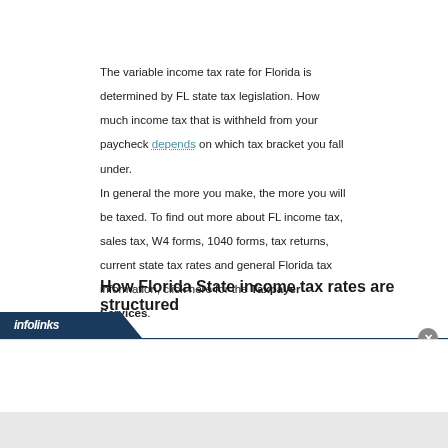The variable income tax rate for Florida is determined by FL state tax legislation. How much income tax that is withheld from your paycheck depends on which tax bracket you fall under. In general the more you make, the more you will be taxed. To find out more about FL income tax, sales tax, W4 forms, 1040 forms, tax returns, current state tax rates and general Florida tax information, click here for the Taxpayer Services.
How Florida State income tax rates are structured
[Figure (other): Infolinks advertisement banner at the bottom of the page with a close button (x) in the top right corner]